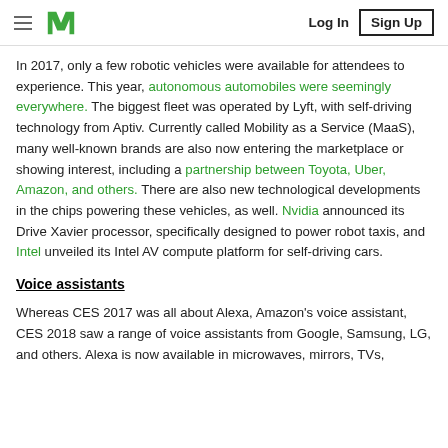Medium logo, Log In, Sign Up
In 2017, only a few robotic vehicles were available for attendees to experience. This year, autonomous automobiles were seemingly everywhere. The biggest fleet was operated by Lyft, with self-driving technology from Aptiv. Currently called Mobility as a Service (MaaS), many well-known brands are also now entering the marketplace or showing interest, including a partnership between Toyota, Uber, Amazon, and others. There are also new technological developments in the chips powering these vehicles, as well. Nvidia announced its Drive Xavier processor, specifically designed to power robot taxis, and Intel unveiled its Intel AV compute platform for self-driving cars.
Voice assistants
Whereas CES 2017 was all about Alexa, Amazon's voice assistant, CES 2018 saw a range of voice assistants from Google, Samsung, LG, and others. Alexa is now available in microwaves, mirrors, TVs, and more. Google featured over 250 voice-controlled devices this...